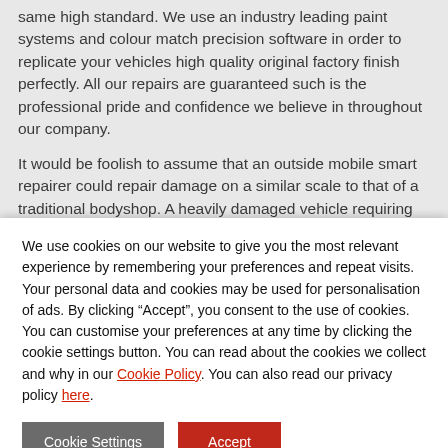same high standard. We use an industry leading paint systems and colour match precision software in order to replicate your vehicles high quality original factory finish perfectly. All our repairs are guaranteed such is the professional pride and confidence we believe in throughout our company.
It would be foolish to assume that an outside mobile smart repairer could repair damage on a similar scale to that of a traditional bodyshop. A heavily damaged vehicle requiring replacement panels or the whole side of the vehicle painting
We use cookies on our website to give you the most relevant experience by remembering your preferences and repeat visits. Your personal data and cookies may be used for personalisation of ads. By clicking “Accept”, you consent to the use of cookies. You can customise your preferences at any time by clicking the cookie settings button. You can read about the cookies we collect and why in our Cookie Policy. You can also read our privacy policy here.